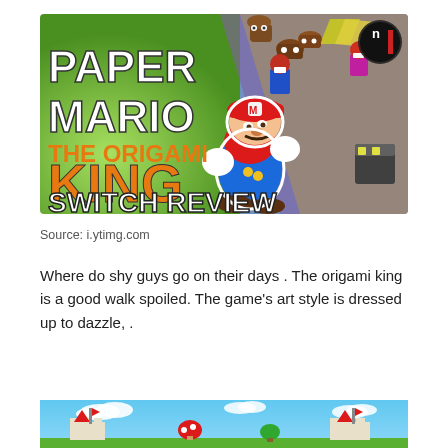[Figure (illustration): Paper Mario: The Origami King Switch Review thumbnail image showing Paper Mario character with game title text and origami enemies in background]
Source: i.ytimg.com
Where do shy guys go on their days . The origami king is a good walk spoiled. The game's art style is dressed up to dazzle, .
[Figure (screenshot): Bottom portion of a colorful game scene with sky blue background and castle/landscape elements]